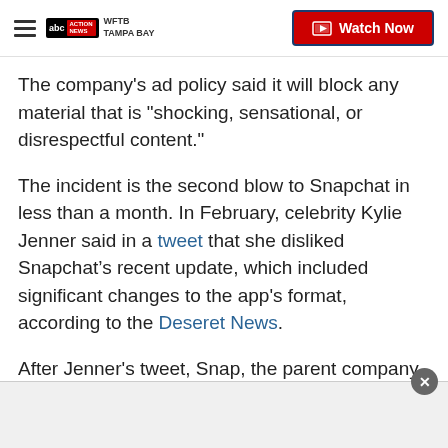WFTB TAMPA BAY — Watch Now
The company's ad policy said it will block any material that is "shocking, sensational, or disrespectful content."
The incident is the second blow to Snapchat in less than a month. In February, celebrity Kylie Jenner said in a tweet that she disliked Snapchat’s recent update, which included significant changes to the app's format, according to the Deseret News.
After Jenner's tweet, Snap, the parent company of Snapchat, watched its shares drop 6.1 percent in the